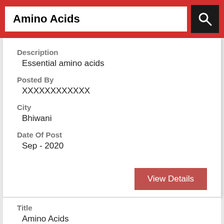Amino Acids
Description
Essential amino acids
Posted By
XXXXXXXXXXXX
City
Bhiwani
Date Of Post
Sep - 2020
View Details
Title
Amino Acids